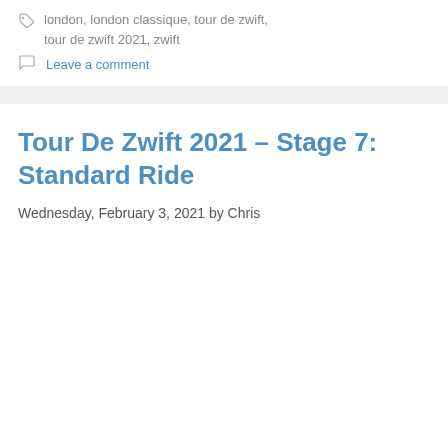london, london classique, tour de zwift, tour de zwift 2021, zwift
Leave a comment
Tour De Zwift 2021 – Stage 7: Standard Ride
Wednesday, February 3, 2021 by Chris